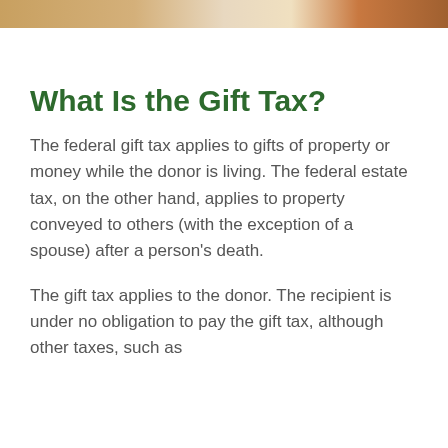[Figure (photo): Decorative photo bar at top of page showing people or objects related to gift/estate planning]
What Is the Gift Tax?
The federal gift tax applies to gifts of property or money while the donor is living. The federal estate tax, on the other hand, applies to property conveyed to others (with the exception of a spouse) after a person's death.
The gift tax applies to the donor. The recipient is under no obligation to pay the gift tax, although other taxes, such as